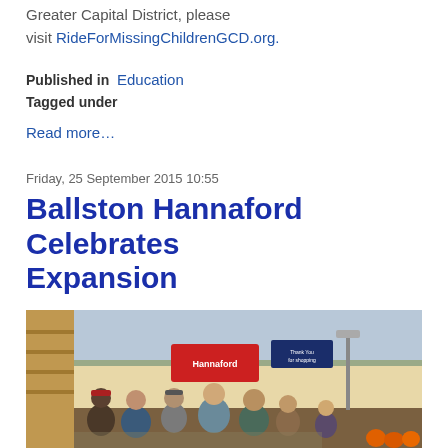Greater Capital District, please visit RideForMissingChildrenGCD.org.
Published in  Education
Tagged under
Read more…
Friday, 25 September 2015 10:55
Ballston Hannaford Celebrates Expansion
[Figure (photo): Interior of Hannaford supermarket showing group of people standing in front of the Hannaford sign. Ceiling with industrial lighting visible. Orange pumpkin decorations visible at lower right.]